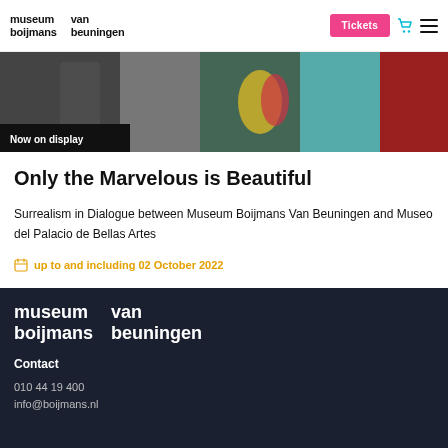museum boijmans   van beuningen   Tickets
[Figure (photo): Banner image with decorative art elements and museum branding. Label reads 'Now on display'.]
Only the Marvelous is Beautiful
Surrealism in Dialogue between Museum Boijmans Van Beuningen and Museo del Palacio de Bellas Artes
up to and including 02 October 2022
museum boijmans   van beuningen
Contact
010 44 19 400
info@boijmans.nl